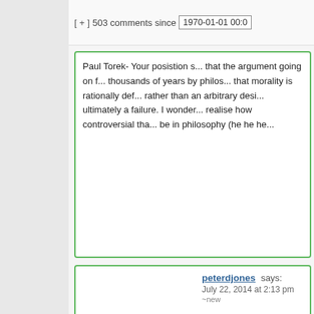[ + ] 503 comments since 1970-01-01 00:0
Paul Torek- Your posistion s... that the argument going on f... thousands of years by philos... that morality is rationally def... rather than an arbitrary desi... ultimately a failure. I wonder... realise how controversial tha... be in philosophy (he he he...
Hide ↑
[Figure (photo): Avatar/profile photo of peterdjones - a man with glasses]
peterdjones says:
July 22, 2014 at 2:13 pm ~new
Some people think you can ... morally-should from rational... and hey think that because t... think it is irrational to treaty y...